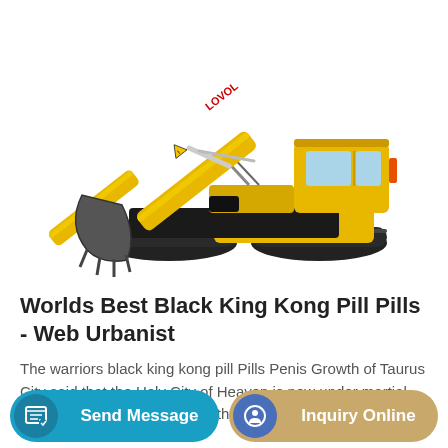[Figure (photo): Yellow LOVOL tracked excavator with extended boom arm and bucket, on white background]
Worlds Best Black King Kong Pill Pills - Web Urbanist
The warriors black king kong pill Pills Penis Growth of Taurus City said that the Holy City of Heaven is now under martial law, which is not deceiving. If the Most Accurate black king...